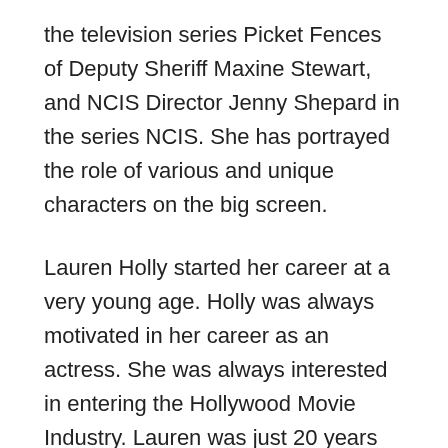the television series Picket Fences of Deputy Sheriff Maxine Stewart, and NCIS Director Jenny Shepard in the series NCIS. She has portrayed the role of various and unique characters on the big screen.
Lauren Holly started her career at a very young age. Holly was always motivated in her career as an actress. She was always interested in entering the Hollywood Movie Industry. Lauren was just 20 years old when she started acting.